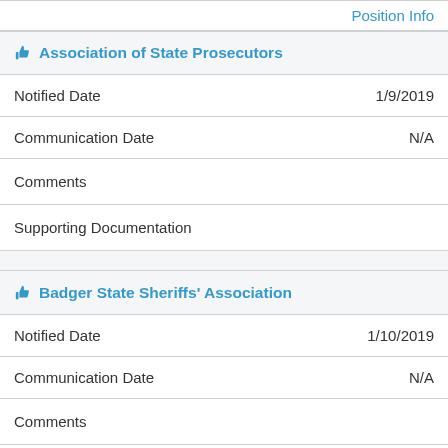|  | Position Info |
| 👍 Association of State Prosecutors |  |
| Notified Date | 1/9/2019 |
| Communication Date | N/A |
| Comments |  |
| Supporting Documentation |  |
|  |  |
| 👍 Badger State Sheriffs' Association |  |
| Notified Date | 1/10/2019 |
| Communication Date | N/A |
| Comments |  |